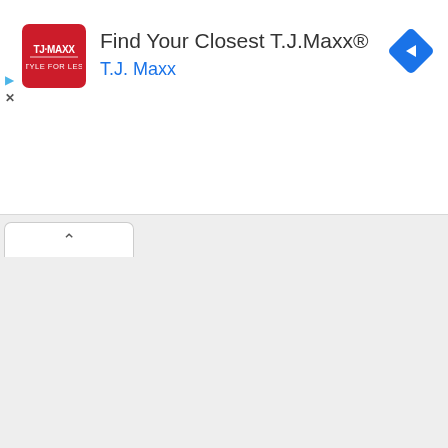[Figure (screenshot): T.J. Maxx advertisement banner showing red TJ Maxx logo square, title text 'Find Your Closest T.J.Maxx®', subtitle 'T.J. Maxx' in blue, a blue navigation arrow diamond icon on the right, and small play/close icons on the left side. Below the ad is a browser tab bar with a chevron-up tab, and gray content area below.]